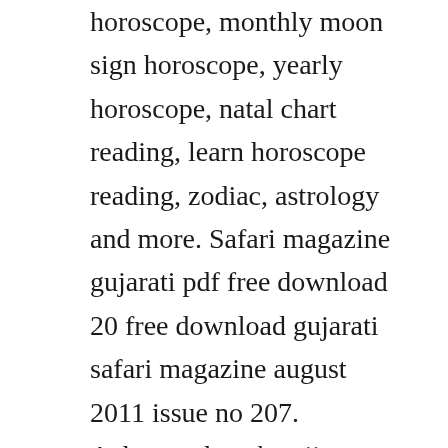horoscope, monthly moon sign horoscope, yearly horoscope, natal chart reading, learn horoscope reading, zodiac, astrology and more. Safari magazine gujarati pdf free download 20 free download gujarati safari magazine august 2011 issue no 207. Acharya chanakya jivan ate vichar punjabi edition 100 desi stories to inspire you telugu edition. Pdf jyotish books hindi vedic astrology free download. Project gutenberg 62,115 free ebooks 3 by sepharial. This astrological text however,has assumed remarkable importance for its unique and special treatment accorded